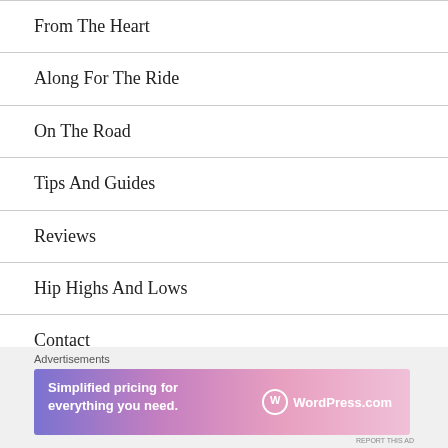From The Heart
Along For The Ride
On The Road
Tips And Guides
Reviews
Hip Highs And Lows
Contact
Advertisements
[Figure (screenshot): WordPress.com advertisement banner: 'Simplified pricing for everything you need.' with WordPress.com logo on gradient purple-pink background]